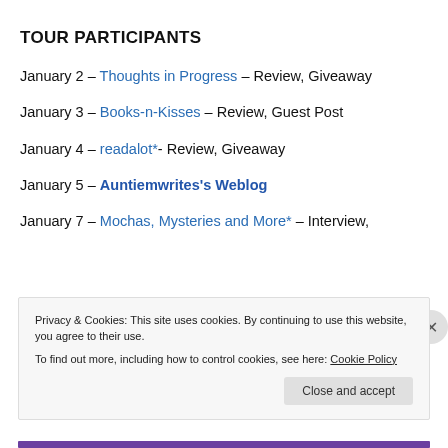TOUR PARTICIPANTS
January 2 – Thoughts in Progress – Review, Giveaway
January 3 – Books-n-Kisses – Review, Guest Post
January 4 – readalot*- Review, Giveaway
January 5 – Auntiemwrites's Weblog
January 7 – Mochas, Mysteries and More* – Interview,
Privacy & Cookies: This site uses cookies. By continuing to use this website, you agree to their use.
To find out more, including how to control cookies, see here: Cookie Policy